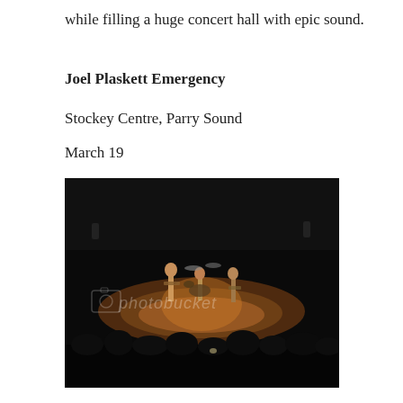while filling a huge concert hall with epic sound.
Joel Plaskett Emergency
Stockey Centre, Parry Sound
March 19
[Figure (photo): Concert photo of Joel Plaskett Emergency performing on stage at Stockey Centre, Parry Sound. Three musicians are visible on a darkened stage with a spotlight illuminating them and the audience silhouetted in the foreground. A Photobucket watermark is visible over the image.]